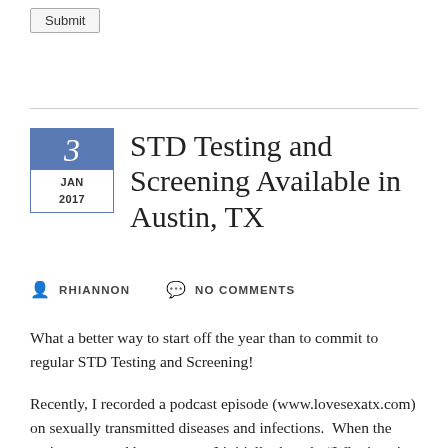Submit
STD Testing and Screening Available in Austin, TX
RHIANNON   NO COMMENTS
What a better way to start off the year than to commit to regular STD Testing and Screening!
Recently, I recorded a podcast episode (www.lovesexatx.com) on sexually transmitted diseases and infections.  When the topic was posed by my team, I initially thought “Who is going to want to listen to an hour long podcast about STDs?”  I mean, I could talk about sexual health and STDs all day long (and